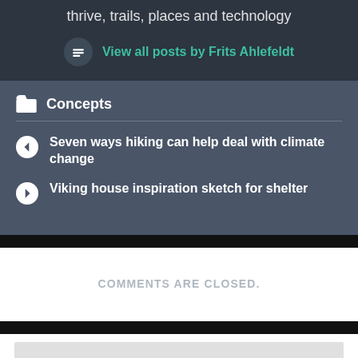thrive, trails, places and technology
View all posts by Frits Ahlefeldt
Concepts
Seven ways hiking can help deal with climate change
Viking house inspiration sketch for shelter
COMMENTS ARE CLOSED.